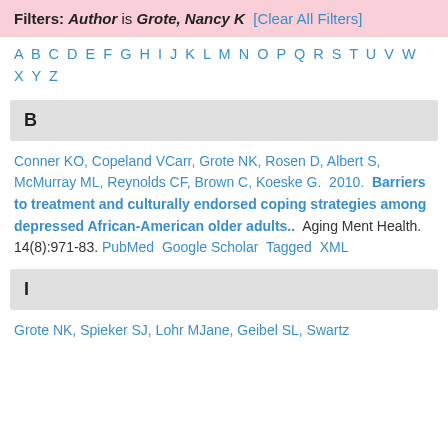Filters: Author is Grote, Nancy K [Clear All Filters]
A B C D E F G H I J K L M N O P Q R S T U V W X Y Z
B
Conner KO, Copeland VCarr, Grote NK, Rosen D, Albert S, McMurray ML, Reynolds CF, Brown C, Koeske G.  2010.  Barriers to treatment and culturally endorsed coping strategies among depressed African-American older adults..  Aging Ment Health. 14(8):971-83.  PubMed  Google Scholar  Tagged  XML
I
Grote NK, Spieker SJ, Lohr MJane, Geibel SL, Swartz